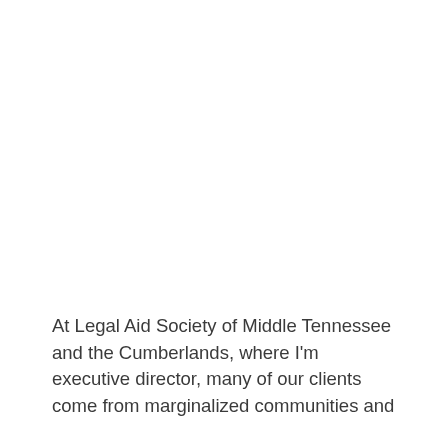At Legal Aid Society of Middle Tennessee and the Cumberlands, where I'm executive director, many of our clients come from marginalized communities and